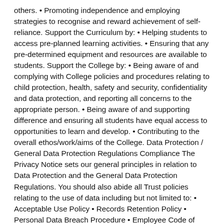others. • Promoting independence and employing strategies to recognise and reward achievement of self-reliance. Support the Curriculum by: • Helping students to access pre-planned learning activities. • Ensuring that any pre-determined equipment and resources are available to students. Support the College by: • Being aware of and complying with College policies and procedures relating to child protection, health, safety and security, confidentiality and data protection, and reporting all concerns to the appropriate person. • Being aware of and supporting difference and ensuring all students have equal access to opportunities to learn and develop. • Contributing to the overall ethos/work/aims of the College. Data Protection / General Data Protection Regulations Compliance The Privacy Notice sets our general principles in relation to Data Protection and the General Data Protection Regulations. You should also abide all Trust policies relating to the use of data including but not limited to: • Acceptable Use Policy • Records Retention Policy • Personal Data Breach Procedure • Employee Code of Conduct • E-safety Policy • Social Media Policy • Use of Personal Devices Policy You should note that a duty of confidentiality applies to all personal data they see prior to their first day of employment (for example, pupil lists...